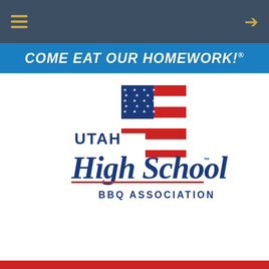Navigation bar with hamburger menu and login icon
COME EAT OUR HOMEWORK!®
[Figure (logo): Utah High School BBQ Association logo featuring an American flag shaped like the state of Utah, with script text 'High School' in navy blue and the text 'UTAH' and 'BBQ ASSOCIATION' in navy blue uppercase letters. A small trademark symbol appears after the logo.]
Red footer bar